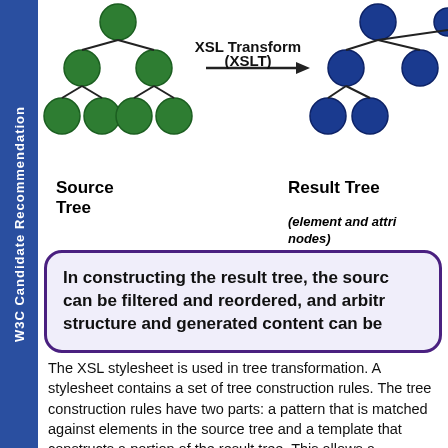[Figure (diagram): Diagram showing a green source tree on the left, an arrow labeled 'XSL Transform (XSLT)' in the middle, and a blue result tree on the right. Below the trees are labels: 'Source Tree' on the left and 'Result Tree (element and attribute nodes)' on the right.]
In constructing the result tree, the source can be filtered and reordered, and arbitrary structure and generated content can be
The XSL stylesheet is used in tree transformation. A stylesheet contains a set of tree construction rules. The tree construction rules have two parts: a pattern that is matched against elements in the source tree and a template that constructs a portion of the result tree. This allows a stylesheet to be applicable to a wide class of documents that